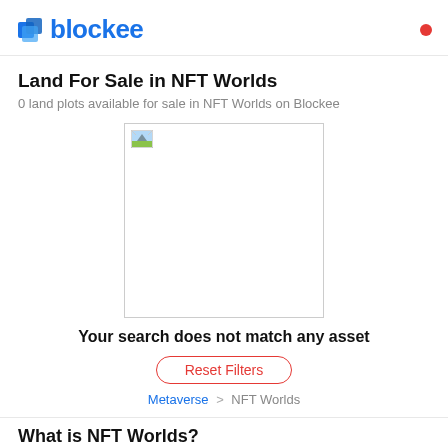blockee
Land For Sale in NFT Worlds
0 land plots available for sale in NFT Worlds on Blockee
[Figure (illustration): Broken/missing image placeholder with a small landscape icon in the top-left corner, shown as a white rectangle with a gray border]
Your search does not match any asset
Reset Filters
Metaverse > NFT Worlds
What is NFT Worlds?